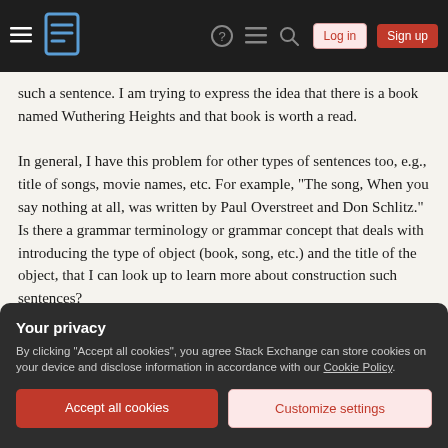Stack Exchange navigation bar with hamburger menu, logo, help, chat, search icons, Log in and Sign up buttons
such a sentence. I am trying to express the idea that there is a book named Wuthering Heights and that book is worth a read.

In general, I have this problem for other types of sentences too, e.g., title of songs, movie names, etc. For example, "The song, When you say nothing at all, was written by Paul Overstreet and Don Schlitz." Is there a grammar terminology or grammar concept that deals with introducing the type of object (book, song, etc.) and the title of the object, that I can look up to learn more about construction such sentences?
Your privacy
By clicking "Accept all cookies", you agree Stack Exchange can store cookies on your device and disclose information in accordance with our Cookie Policy.
Accept all cookies
Customize settings